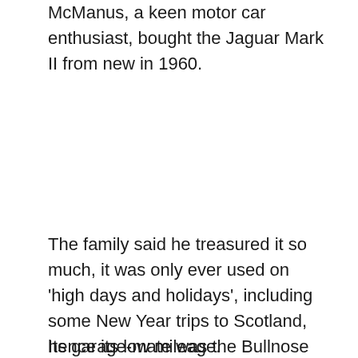McManus, a keen motor car enthusiast, bought the Jaguar Mark II from new in 1960.
The family said he treasured it so much, it was only ever used on 'high days and holidays', including some New Year trips to Scotland, hence its low mileage.
Its garage-mate was the Bullnose Morris